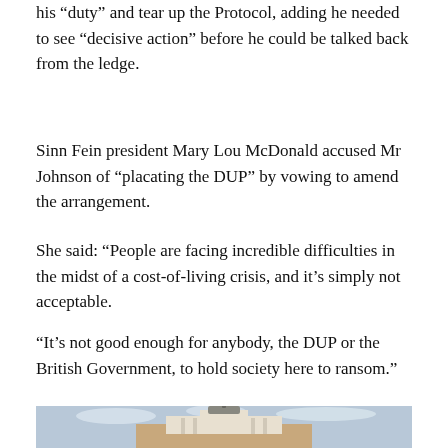his “duty” and tear up the Protocol, adding he needed to see “decisive action” before he could be talked back from the ledge.
Sinn Fein president Mary Lou McDonald accused Mr Johnson of “placating the DUP” by vowing to amend the arrangement.
She said: “People are facing incredible difficulties in the midst of a cost-of-living crisis, and it’s simply not acceptable.
“It’s not good enough for anybody, the DUP or the British Government, to hold society here to ransom.”
[Figure (photo): Photograph of a historic building with a clock tower or domed turret, taken from a low angle against a partly cloudy sky. The building appears to be a civic or government structure with classical architectural features.]